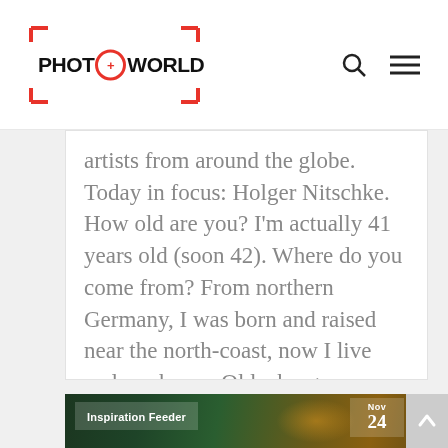PHOT+WORLD
artists from around the globe. Today in focus: Holger Nitschke. How old are you? I'm actually 41 years old (soon 42). Where do you come from? From northern Germany, I was born and raised near the north-coast, now I live and work near Oldenburg,…
Прочети повече ▶
[Figure (photo): Dark interior event/restaurant photo with warm orange/gold lighting, with 'Inspiration Feeder' tag overlay and date 'Nov 24']